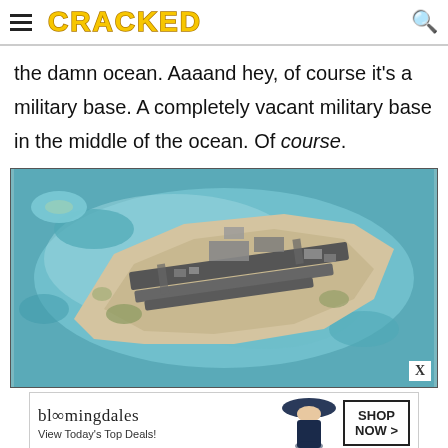CRACKED
the damn ocean. Aaaand hey, of course it's a military base. A completely vacant military base in the middle of the ocean. Of course.
[Figure (photo): Aerial satellite view of a military base on a small island/atoll surrounded by turquoise ocean water, with runways and structures visible from above.]
[Figure (other): Bloomingdale's advertisement banner: 'bloomingdales View Today's Top Deals!' with a woman in a wide-brim hat and a 'SHOP NOW >' button.]